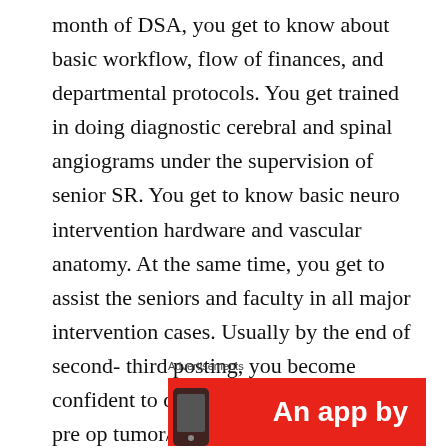month of DSA, you get to know about basic workflow, flow of finances, and departmental protocols. You get trained in doing diagnostic cerebral and spinal angiograms under the supervision of senior SR. You get to know basic neuro intervention hardware and vascular anatomy. At the same time, you get to assist the seniors and faculty in all major intervention cases. Usually by the end of second- third posting, you become confident to do all diagnostic DSAs and pre op tumor/head-neck AVM embolisation (if you are lucky and enthusiastic) on your own without requiring the supervision of senior SRs.
Advertisements
[Figure (other): Red advertisement banner with white bold text reading 'An app by' and a partial phone image in the lower left corner]